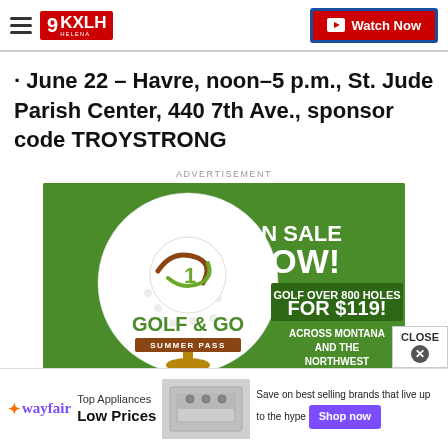KXLH Helena - Watch Now
· June 22 – Havre, noon–5 p.m., St. Jude Parish Center, 440 7th Ave., sponsor code TROYSTRONG
ADVERTISEMENT
[Figure (illustration): Golf & Go Summer Pass advertisement: green background with golf ball graphic on left, text on right reading ON SALE NOW! GOLF OVER 800 HOLES FOR $119! ACROSS MONTANA AND THE NORTHWEST]
[Figure (illustration): Wayfair advertisement: wayfair logo, Top Appliances Low Prices, image of stove/range, Save on best selling brands that live up to the hype, Shop now button]